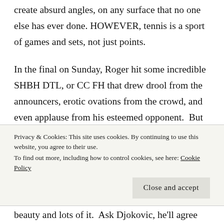create absurd angles, on any surface that no one else has ever done. HOWEVER, tennis is a sport of games and sets, not just points.
In the final on Sunday, Roger hit some incredible SHBH DTL, or CC FH that drew drool from the announcers, erotic ovations from the crowd, and even applause from his esteemed opponent.  But the ledger reads 15-40, not in Roger's favor.  He wins a lot of points, a lot of matches, has won a lot of major cups. But against a guy like
Privacy & Cookies: This site uses cookies. By continuing to use this website, you agree to their use.
To find out more, including how to control cookies, see here: Cookie Policy
beauty and lots of it. Ask Djokovic, he'll agree